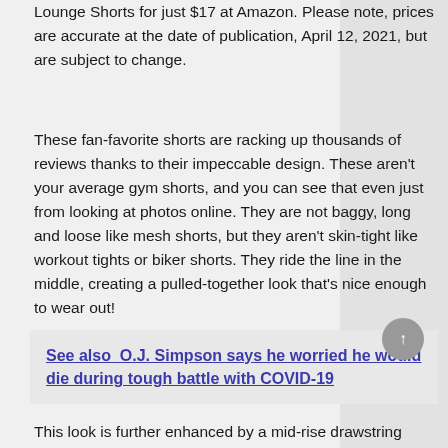Lounge Shorts for just $17 at Amazon. Please note, prices are accurate at the date of publication, April 12, 2021, but are subject to change.
These fan-favorite shorts are racking up thousands of reviews thanks to their impeccable design. These aren't your average gym shorts, and you can see that even just from looking at photos online. They are not baggy, long and loose like mesh shorts, but they aren't skin-tight like workout tights or biker shorts. They ride the line in the middle, creating a pulled-together look that's nice enough to wear out!
See also  O.J. Simpson says he worried he would die during tough battle with COVID-19
This look is further enhanced by a mid-rise drawstring waist,